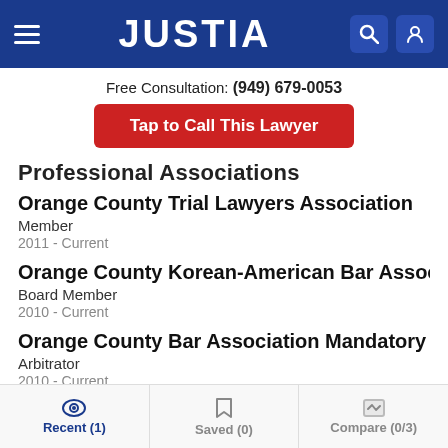JUSTIA
Free Consultation: (949) 679-0053
Tap to Call This Lawyer
Professional Associations
Orange County Trial Lawyers Association
Member
2011 - Current
Orange County Korean-American Bar Association
Board Member
2010 - Current
Orange County Bar Association Mandatory Fee Arbit
Arbitrator
2010 - Current
Recent (1)    Saved (0)    Compare (0/3)